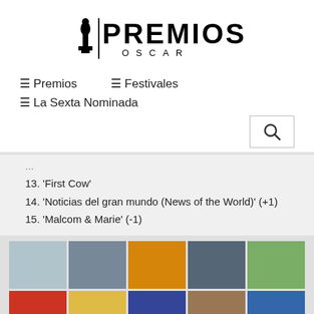[Figure (logo): Premios Oscar logo with Oscar statuette silhouette and bold PREMIOS OSCAR text]
≡ Premios
≡ Festivales
≡ La Sexta Nominada
[Figure (other): Search button with magnifying glass icon]
13. 'First Cow'
14. 'Noticias del gran mundo (News of the World)' (+1)
15. 'Malcom & Marie' (-1)
[Figure (photo): Grid of movie poster thumbnails, two rows of five posters each]